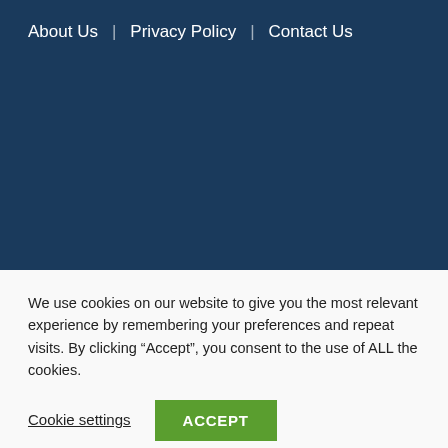About Us   Privacy Policy   Contact Us
We use cookies on our website to give you the most relevant experience by remembering your preferences and repeat visits. By clicking “Accept”, you consent to the use of ALL the cookies.
Cookie settings
ACCEPT